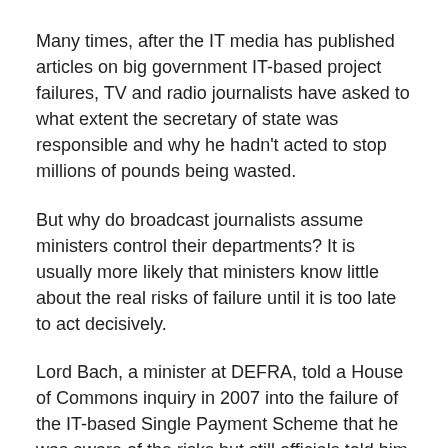Many times, after the IT media has published articles on big government IT-based project failures, TV and radio journalists have asked to what extent the secretary of state was responsible and why he hadn't acted to stop millions of pounds being wasted.
But why do broadcast journalists assume ministers control their departments? It is usually more likely that ministers know little about the real risks of failure until it is too late to act decisively.
Lord Bach, a minister at DEFRA, told a House of Commons inquiry in 2007 into the failure of the IT-based Single Payment Scheme that he was aware of the risks but still officials told him that systems would work as planned and farmers would receive payments on time.